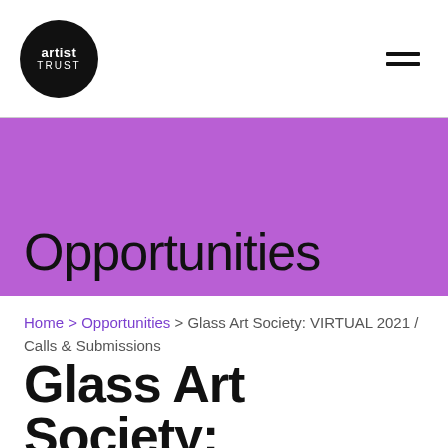artist TRUST
Opportunities
Home > Opportunities > Glass Art Society: VIRTUAL 2021 / Calls & Submissions
Glass Art Society: VIRTUAL